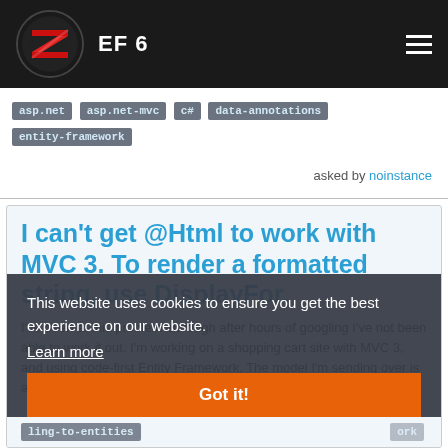EF 6
asp.net
asp.net-mvc
c#
data-annotations
entity-framework
asked by noinstance
I can't get @Html to work with MVC 3. To render a formatted string, use DisplayFor.
I've been at this problem although after hours of googling I've not been able to work it out. I'm working on a shopping cart site with MVC 3, and using code-first Entity Framework. The model I'm sending over is a list of Product objects, as
This website uses cookies to ensure you get the best experience on our website.
Learn more
Got it!
ling-to-entities